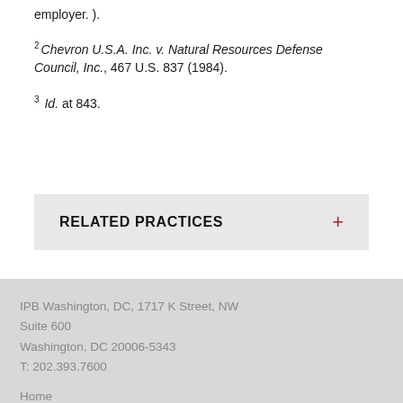employer.).
2 Chevron U.S.A. Inc. v. Natural Resources Defense Council, Inc., 467 U.S. 837 (1984).
3 Id. at 843.
RELATED PRACTICES +
IPB Washington, DC, 1717 K Street, NW
Suite 600
Washington, DC 20006-5343
T: 202.393.7600

Home